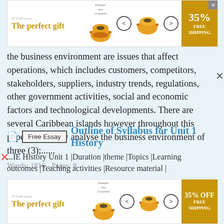[Figure (other): Advertisement banner: 'The perfect gift' with pot image, navigation arrows, 35% FREE SHIPPING gold badge]
the business environment are issues that affect operations, which includes customers, competitors, stakeholders, suppliers, industry trends, regulations, other government activities, social and economic factors and technological developments. There are several Caribbean islands however throughout this paper I will only analyse the business environment of three (3);......
Words: 1816 - Pages: 8
Free Essay   Outline of Syllabus for Unit 1 History
...IE History Unit 1 |Duration |theme |Topics |Learning outcomes |Teaching activities |Resource material |
[Figure (other): Advertisement banner bottom: 'The perfect gift' with pot image, navigation arrows, 35% OFF FREE SHIPPING gold badge]